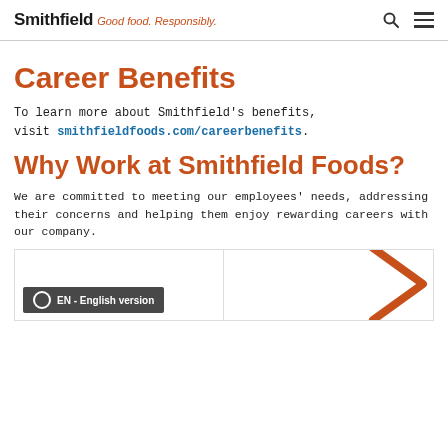Smithfield Good food. Responsibly.
Career Benefits
To learn more about Smithfield's benefits, visit smithfieldfoods.com/careerbenefits.
Why Work at Smithfield Foods?
We are committed to meeting our employees' needs, addressing their concerns and helping them enjoy rewarding careers with our company.
[Figure (screenshot): Two side-by-side card panels. Left card has a dark overlay badge reading 'EN - English version' with a circle icon. Right card shows an orange arrow/chevron graphic partially visible.]